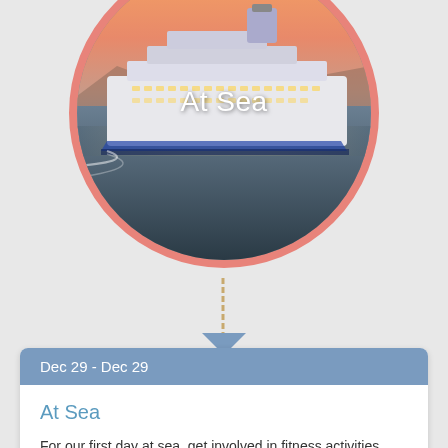[Figure (photo): Aerial/side view of a large white cruise ship at sea during sunset/dusk, with text 'At Sea' overlaid in white, displayed inside a circular frame with salmon/coral border]
Dec 29 - Dec 29
At Sea
For our first day at sea, get involved in fitness activities,